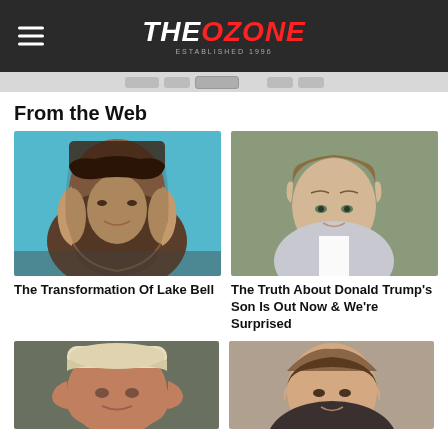THE OZONE
From the Web
[Figure (photo): Portrait of Lake Bell, woman with long wavy brown hair and bangs against teal background]
The Transformation Of Lake Bell
[Figure (photo): Portrait of a young boy with light brown hair, serious expression, wearing white collar]
The Truth About Donald Trump's Son Is Out Now & We're Surprised
[Figure (photo): Close-up portrait of older man with white hat and weathered face]
[Figure (photo): Portrait of woman with brown hair pulled back]